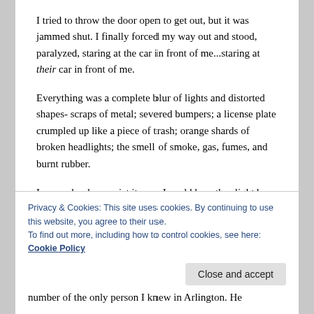I tried to throw the door open to get out, but it was jammed shut. I finally forced my way out and stood, paralyzed, staring at the car in front of me...staring at their car in front of me.
Everything was a complete blur of lights and distorted shapes- scraps of metal; severed bumpers; a license plate crumpled up like a piece of trash; orange shards of broken headlights; the smell of smoke, gas, fumes, and burnt rubber.
I remember how quiet it was. I could hear the slight buzz of traffic in the distance and the sound of fluids spewing out of our cars. The crunch of
Privacy & Cookies: This site uses cookies. By continuing to use this website, you agree to their use.
To find out more, including how to control cookies, see here:
Cookie Policy
number of the only person I knew in Arlington. He